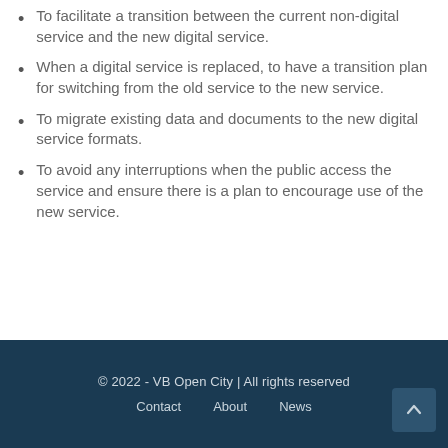To facilitate a transition between the current non-digital service and the new digital service.
When a digital service is replaced, to have a transition plan for switching from the old service to the new service.
To migrate existing data and documents to the new digital service formats.
To avoid any interruptions when the public access the service and ensure there is a plan to encourage use of the new service.
© 2022 - VB Open City | All rights reserved
Contact   About   News